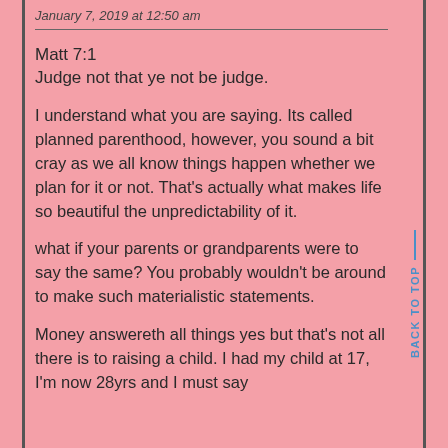January 7, 2019 at 12:50 am
Matt 7:1
Judge not that ye not be judge.
I understand what you are saying. Its called planned parenthood, however, you sound a bit cray as we all know things happen whether we plan for it or not. That’s actually what makes life so beautiful the unpredictability of it.
what if your parents or grandparents were to say the same? You probably wouldn’t be around to make such materialistic statements.
Money answereth all things yes but that’s not all there is to raising a child. I had my child at 17, I’m now 28yrs and I must say